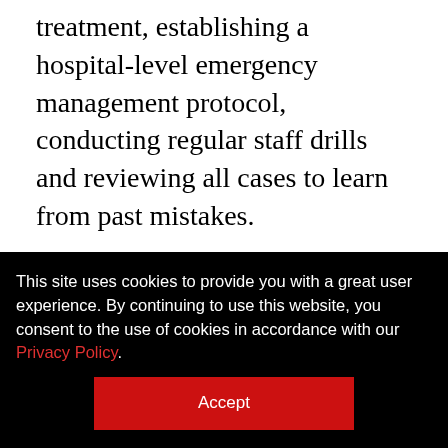treatment, establishing a hospital-level emergency management protocol, conducting regular staff drills and reviewing all cases to learn from past mistakes.
Having an active training program for different types of medical emergencies can really pay off, said Staebler, of Emory University's Woodruff School of Nursing. "You will remember in the fall [of 2014] when all of the Ebola stuff was happening here, and the Emory
This site uses cookies to provide you with a great user experience. By continuing to use this website, you consent to the use of cookies in accordance with our Privacy Policy.